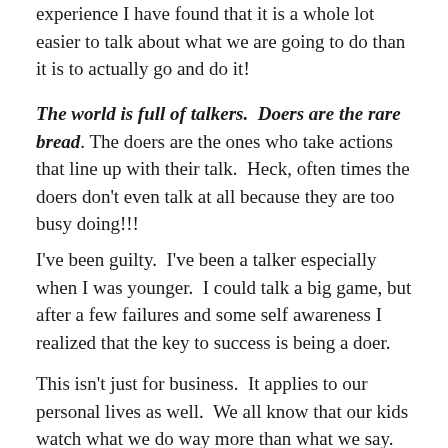experience I have found that it is a whole lot easier to talk about what we are going to do than it is to actually go and do it!
The world is full of talkers.  Doers are the rare bread. The doers are the ones who take actions that line up with their talk.  Heck, often times the doers don't even talk at all because they are too busy doing!!!
I've been guilty.  I've been a talker especially when I was younger.  I could talk a big game, but after a few failures and some self awareness I realized that the key to success is being a doer.
This isn't just for business.  It applies to our personal lives as well.  We all know that our kids watch what we do way more than what we say.  Actions matter.